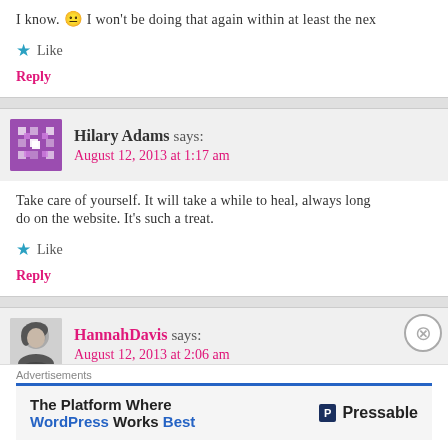I know. 😐 I won't be doing that again within at least the nex…
★ Like
Reply
Hilary Adams says: August 12, 2013 at 1:17 am
Take care of yourself. It will take a while to heal, always long… do on the website. It's such a treat.
★ Like
Reply
HannahDavis says: August 12, 2013 at 2:06 am
Advertisements
The Platform Where WordPress Works Best — Pressable